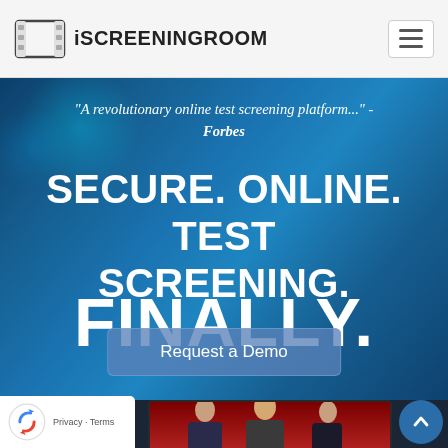iSCREENINGROOM
"A revolutionary online test screening platform..." - Forbes
SECURE. ONLINE. TEST SCREENING.
FINALLY.
Request a Demo
[Figure (screenshot): Bottom section showing people on a screen preview with reCAPTCHA badge and scroll-to-top button]